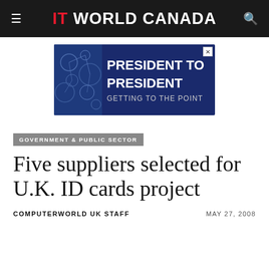IT WORLD CANADA
[Figure (screenshot): Advertisement banner with dark blue background showing molecular/tech imagery on left side and white text reading 'PRESIDENT TO PRESIDENT GETTING TO THE POINT']
GOVERNMENT & PUBLIC SECTOR
Five suppliers selected for U.K. ID cards project
COMPUTERWORLD UK STAFF   MAY 27, 2008